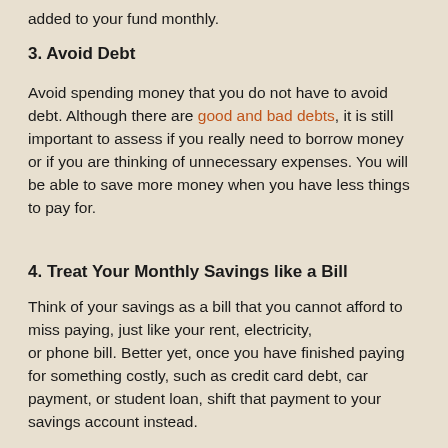added to your fund monthly.
3. Avoid Debt
Avoid spending money that you do not have to avoid debt. Although there are good and bad debts, it is still important to assess if you really need to borrow money or if you are thinking of unnecessary expenses. You will be able to save more money when you have less things to pay for.
4. Treat Your Monthly Savings like a Bill
Think of your savings as a bill that you cannot afford to miss paying, just like your rent, electricity, or phone bill. Better yet, once you have finished paying for something costly, such as credit card debt, car payment, or student loan, shift that payment to your savings account instead.